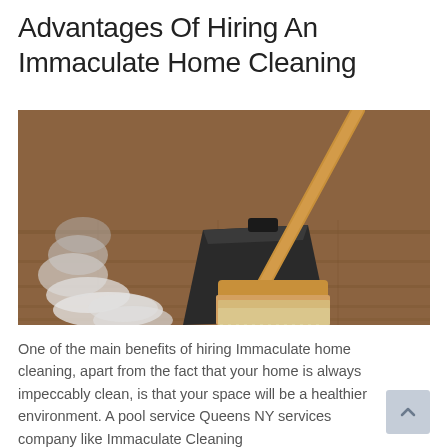Advantages Of Hiring An Immaculate Home Cleaning
[Figure (photo): Close-up photo of a broom and dustpan on a wooden floor with a person's socked feet blurred in the background]
One of the main benefits of hiring Immaculate home cleaning, apart from the fact that your home is always impeccably clean, is that your space will be a healthier environment. A pool service Queens NY services company like Immaculate Cleaning